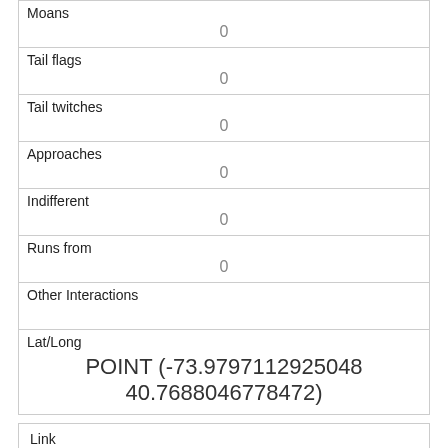| Moans | 0 |
| Tail flags | 0 |
| Tail twitches | 0 |
| Approaches | 0 |
| Indifferent | 0 |
| Runs from | 0 |
| Other Interactions |  |
| Lat/Long | POINT (-73.9797112925048 40.7688046778472) |
| Link | 1977 |
| rowid | 1977 |